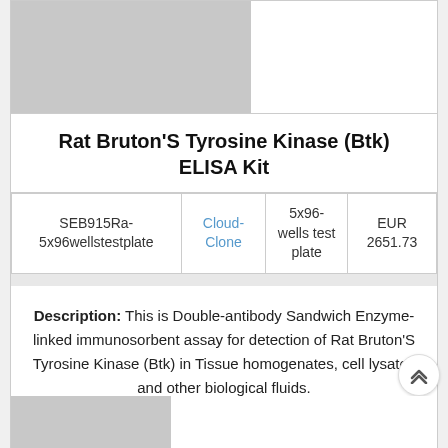[Figure (photo): Product image placeholder (gray box) at top left]
Rat Bruton'S Tyrosine Kinase (Btk) ELISA Kit
|  |  | 5x96-wells test plate |  |
| --- | --- | --- | --- |
| SEB915Ra-5x96wellstestplate | Cloud-Clone | 5x96-wells test plate | EUR 2651.73 |
Description: This is Double-antibody Sandwich Enzyme-linked immunosorbent assay for detection of Rat Bruton'S Tyrosine Kinase (Btk) in Tissue homogenates, cell lysates and other biological fluids.
[Figure (photo): Bottom product image placeholder (gray box)]